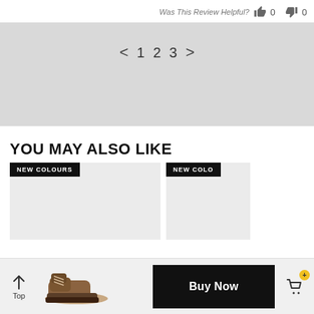Was This Review Helpful? 👍 0 👎 0
[Figure (screenshot): Pagination navigation with back arrow, pages 1 2 3, and forward arrow on grey background]
YOU MAY ALSO LIKE
[Figure (screenshot): Product card with NEW COLOURS badge on grey background]
[Figure (screenshot): Partial product card with NEW COLO badge on right side]
[Figure (screenshot): Bottom sticky bar with Top button, shoe image, Buy Now button, and cart icon with yellow badge showing plus sign]